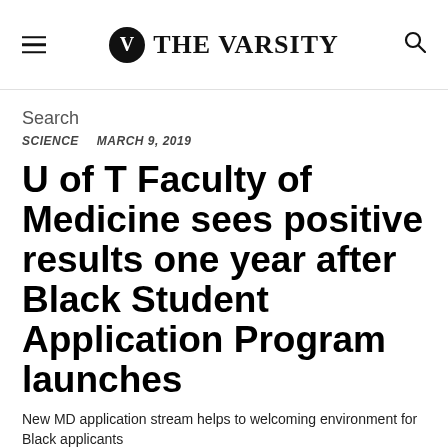THE VARSITY
Search
SCIENCE   MARCH 9, 2019
U of T Faculty of Medicine sees positive results one year after Black Student Application Program launches
New MD application stream helps to welcoming environment for Black applicants